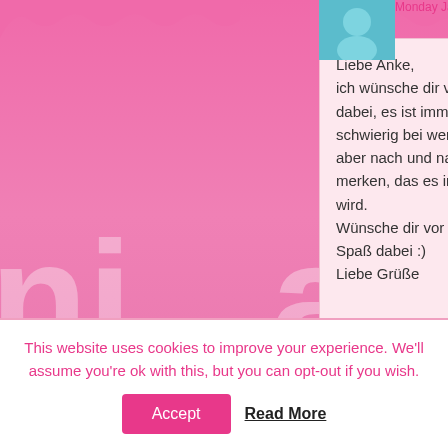[Figure (screenshot): Pink decorative scallop border at top of page, part of blog theme background]
Monday January 6th, 2014 at 10:06
Liebe Anke,
ich wünsche dir viel Erfolg dabei, es ist immer etwas schwierig bei wenig Erfahrung, aber nach und nach wirst du merken, das es immer besser wird.
Wünsche dir vor allem viel Spaß dabei :)
Liebe Grüße
Reply
kit
Friday March 14th, 2014 at 23:51
Heya. love these! after you have made them where should they be stored?
This website uses cookies to improve your experience. We'll assume you're ok with this, but you can opt-out if you wish.
Accept
Read More